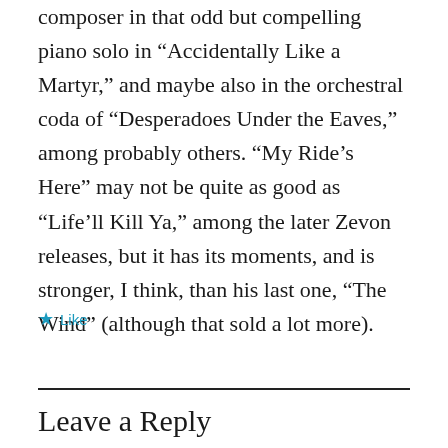composer in that odd but compelling piano solo in “Accidentally Like a Martyr,” and maybe also in the orchestral coda of “Desperadoes Under the Eaves,” among probably others. “My Ride’s Here” may not be quite as good as “Life’ll Kill Ya,” among the later Zevon releases, but it has its moments, and is stronger, I think, than his last one, “The Wind” (although that sold a lot more).
★ Like
Leave a Reply